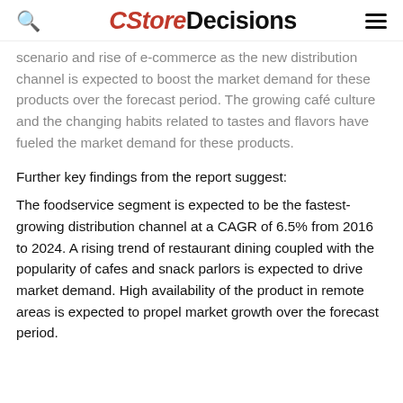CStoreDecisions
scenario and rise of e-commerce as the new distribution channel is expected to boost the market demand for these products over the forecast period. The growing café culture and the changing habits related to tastes and flavors have fueled the market demand for these products.
Further key findings from the report suggest:
The foodservice segment is expected to be the fastest-growing distribution channel at a CAGR of 6.5% from 2016 to 2024. A rising trend of restaurant dining coupled with the popularity of cafes and snack parlors is expected to drive market demand. High availability of the product in remote areas is expected to propel market growth over the forecast period.